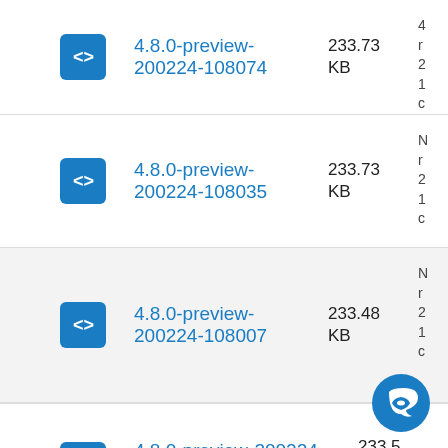4.8.0-preview-200224-108074  233.73 KB
4.8.0-preview-200224-108035  233.73 KB
4.8.0-preview-200224-108007  233.48 KB
4.8.0-preview-200224-107985  233.5